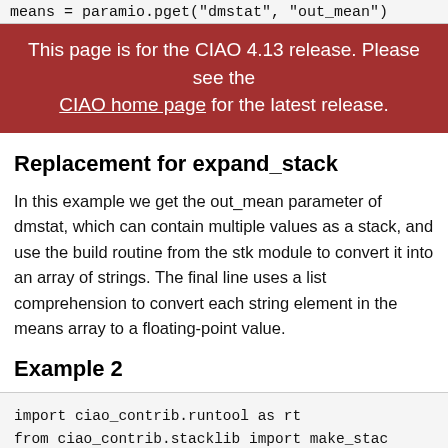means = paramio.pget("dmstat", "out_mean")
This page is for the CIAO 4.13 release. Please see the CIAO home page for the latest release.
Replacement for expand_stack
In this example we get the out_mean parameter of dmstat, which can contain multiple values as a stack, and use the build routine from the stk module to convert it into an array of strings. The final line uses a list comprehension to convert each string element in the means array to a floating-point value.
Example 2
import ciao_contrib.runtool as rt
from ciao_contrib.stacklib import make_stack
tmpfile = make_stackfile(images)
nimages = len(images)